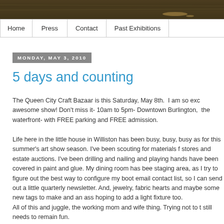[Figure (photo): Top banner image showing textured dark brown/green surface, possibly a woven or natural material]
Home | Press | Contact | Past Exhibitions
MONDAY, MAY 3, 2010
5 days and counting
The Queen City Craft Bazaar is this Saturday, May 8th. I am so exc awesome show! Don't miss it- 10am to 5pm- Downtown Burlington, the waterfront- with FREE parking and FREE admission.
Life here in the little house in Williston has been busy, busy, busy as for this summer's art show season. I've been scouting for materials f stores and estate auctions. I've been drilling and nailing and playing hands have been covered in paint and glue. My dining room has bee staging area, as I try to figure out the best way to configure my boot email contact list, so I can send out a little quarterly newsletter. And, jewelry, fabric hearts and maybe some new tags to make and an ass hoping to add a light fixture too. All of this and juggle, the working mom and wife thing. Trying not to t still needs to remain fun.